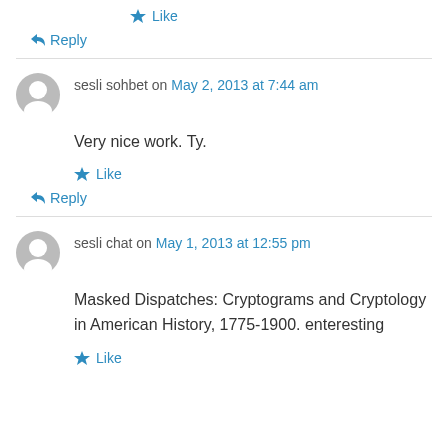★ Like
↳ Reply
sesli sohbet on May 2, 2013 at 7:44 am
Very nice work. Ty.
★ Like
↳ Reply
sesli chat on May 1, 2013 at 12:55 pm
Masked Dispatches: Cryptograms and Cryptology in American History, 1775-1900. enteresting
★ Like